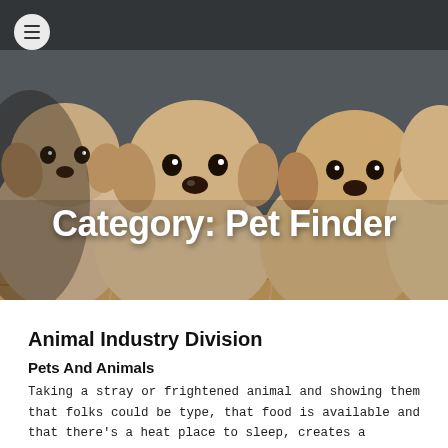[Figure (photo): Hero banner image showing multiple yellow Labrador puppies sitting in a wicker basket against a grey background, with a dark overlay.]
Category: Pet Finder
Animal Industry Division
Pets And Animals
Taking a stray or frightened animal and showing them that folks could be type, that food is available and that there's a heat place to sleep, creates a